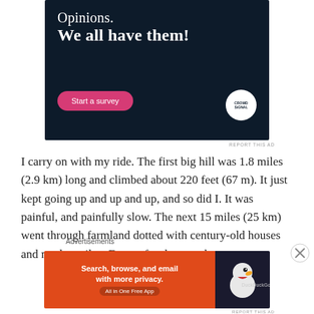[Figure (other): Dark navy advertisement banner for Crowdsignal survey tool. Text reads 'Opinions. We all have them!' with a pink 'Start a survey' button and Crowdsignal circular logo on the right.]
REPORT THIS AD
I carry on with my ride. The first big hill was 1.8 miles (2.9 km) long and climbed about 220 feet (67 m). It just kept going up and up and up, and so did I. It was painful, and painfully slow. The next 15 miles (25 km) went through farmland dotted with century-old houses and modern silos. Except for the cars that
Advertisements
[Figure (other): DuckDuckGo advertisement banner. Orange left section reads 'Search, browse, and email with more privacy. All in One Free App'. Dark right section shows DuckDuckGo duck logo.]
REPORT THIS AD